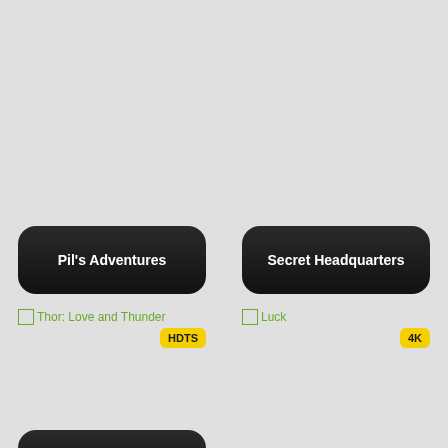[Figure (screenshot): Movie card banner with dark rounded rectangle showing title 'Pil's Adventures' in white bold text]
Pil's Adventures
[Figure (screenshot): Movie card banner with dark rounded rectangle showing title 'Secret Headquarters' in white bold text]
Secret Headquarters
[Figure (screenshot): Broken image placeholder for 'Thor: Love and Thunder' with green link text and yellow HDTS badge]
Thor: Love and Thunder
HDTS
[Figure (screenshot): Broken image placeholder for 'Luck' with green link text and yellow 4K badge]
Luck
4K